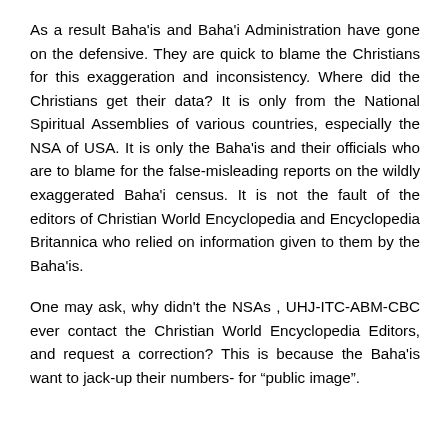As a result Baha'is and Baha'i Administration have gone on the defensive. They are quick to blame the Christians for this exaggeration and inconsistency. Where did the Christians get their data? It is only from the National Spiritual Assemblies of various countries, especially the NSA of USA. It is only the Baha'is and their officials who are to blame for the false-misleading reports on the wildly exaggerated Baha'i census. It is not the fault of the editors of Christian World Encyclopedia and Encyclopedia Britannica who relied on information given to them by the Baha'is.
One may ask, why didn't the NSAs , UHJ-ITC-ABM-CBC ever contact the Christian World Encyclopedia Editors, and request a correction? This is because the Baha'is want to jack-up their numbers- for “public image”.